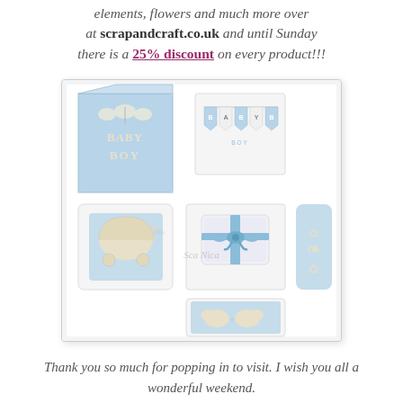elements, flowers and much more over at scrapandcraft.co.uk and until Sunday there is a 25% discount on every product!!!
[Figure (photo): Baby boy craft items arranged on white background: a blue 3D box with BABY BOY text and butterfly die cuts, a Baby Boy banner bunting on transparent card, a pram/stroller die cut card, a folded white towel/cloth with blue ribbon bow, an ornate blue decorative card, and a blue card with baby booties die cut. Watermark reads Sca Nica.]
Thank you so much for popping in to visit. I wish you all a wonderful weekend.